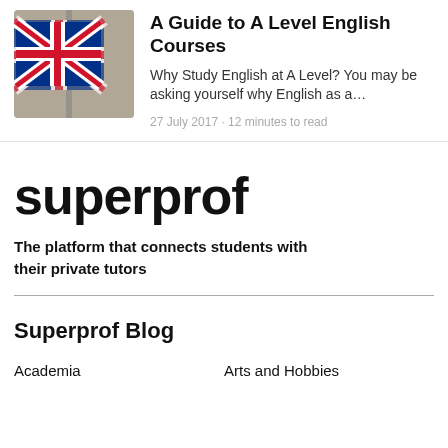[Figure (photo): Photo of a UK Union Jack flag mounted on a wall, waving slightly]
A Guide to A Level English Courses
Why Study English at A Level? You may be asking yourself why English as a…
27 July 2017 • 12 minutes to read
superprof
The platform that connects students with their private tutors
Superprof Blog
Academia
Arts and Hobbies